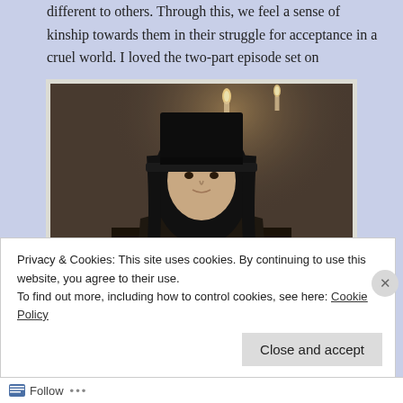different to others. Through this, we feel a sense of kinship towards them in their struggle for acceptance in a cruel world. I loved the two-part episode set on
[Figure (photo): A man dressed in Victorian gothic attire — black top hat, long dark hair, black coat with ruffled cravat — holding a glass, photographed in a dimly lit atmospheric setting with candles in the background.]
Halloween that features Edward Mordrake(played
Privacy & Cookies: This site uses cookies. By continuing to use this website, you agree to their use.
To find out more, including how to control cookies, see here: Cookie Policy
Close and accept
Follow